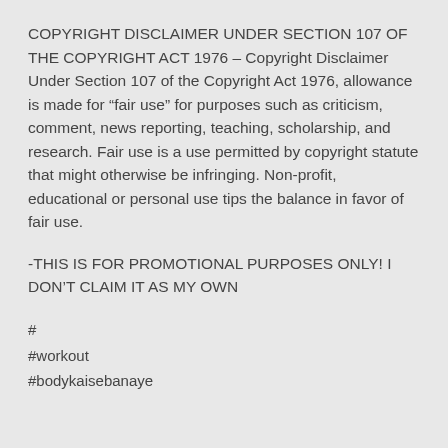COPYRIGHT DISCLAIMER UNDER SECTION 107 OF THE COPYRIGHT ACT 1976 – Copyright Disclaimer Under Section 107 of the Copyright Act 1976, allowance is made for “fair use” for purposes such as criticism, comment, news reporting, teaching, scholarship, and research. Fair use is a use permitted by copyright statute that might otherwise be infringing. Non-profit, educational or personal use tips the balance in favor of fair use.
-THIS IS FOR PROMOTIONAL PURPOSES ONLY! I DON’T CLAIM IT AS MY OWN
#
#workout
#bodykaisebanaye